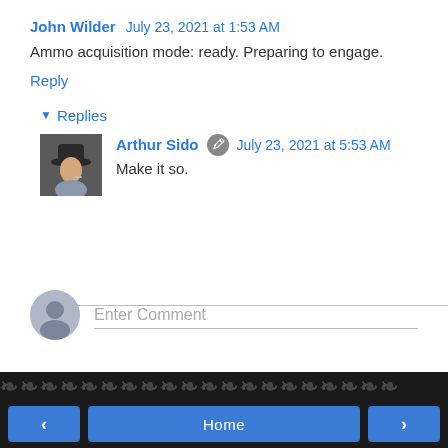John Wilder  July 23, 2021 at 1:53 AM
Ammo acquisition mode: ready. Preparing to engage.
Reply
▾ Replies
[Figure (photo): Avatar photo of a person wearing a hat]
Arthur Sido  July 23, 2021 at 5:53 AM
Make it so.
Reply
[Figure (photo): Generic user avatar circle icon]
Enter Comment
Home